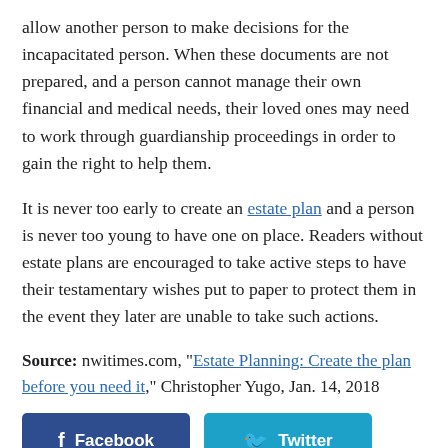allow another person to make decisions for the incapacitated person. When these documents are not prepared, and a person cannot manage their own financial and medical needs, their loved ones may need to work through guardianship proceedings in order to gain the right to help them.
It is never too early to create an estate plan and a person is never too young to have one on place. Readers without estate plans are encouraged to take active steps to have their testamentary wishes put to paper to protect them in the event they later are unable to take such actions.
Source: nwitimes.com, “Estate Planning: Create the plan before you need it,” Christopher Yugo, Jan. 14, 2018
[Figure (other): Social media share buttons: Facebook (dark blue), Twitter (light blue), and partially visible LinkedIn (blue) button]